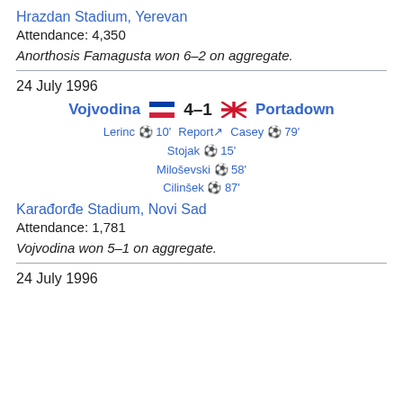Hrazdan Stadium, Yerevan
Attendance: 4,350
Anorthosis Famagusta won 6–2 on aggregate.
24 July 1996
Vojvodina 4–1 Portadown
Lerinc ⚽ 10' Report Casey ⚽ 79'
Stojak ⚽ 15'
Miloševski ⚽ 58'
Cilinšek ⚽ 87'
Karađorđe Stadium, Novi Sad
Attendance: 1,781
Vojvodina won 5–1 on aggregate.
24 July 1996